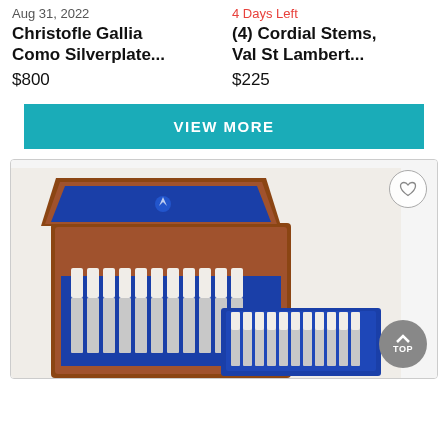Aug 31, 2022
4 Days Left
Christofle Gallia Como Silverplate...
(4) Cordial Stems, Val St Lambert...
$800
$225
VIEW MORE
[Figure (photo): An open wooden flatware storage box lined with blue velvet interior containing silverware with white handles arranged in rows, with a second smaller blue-lined box visible at the bottom right also containing silverware.]